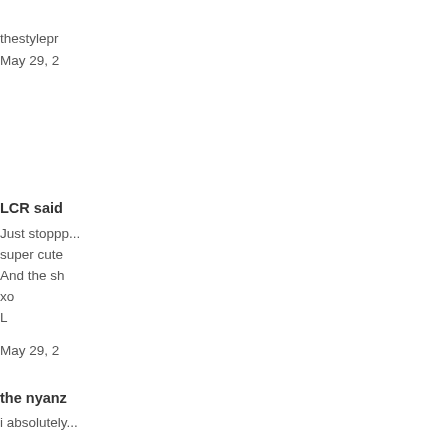thestylepro...
May 29, 2...
LCR said...
Just stoppp... super cute... And the sh... xo L
May 29, 2...
the nyanz...
i absolutely...
May 30, 2...
LuLu said...
Cute shoe... even look... life.